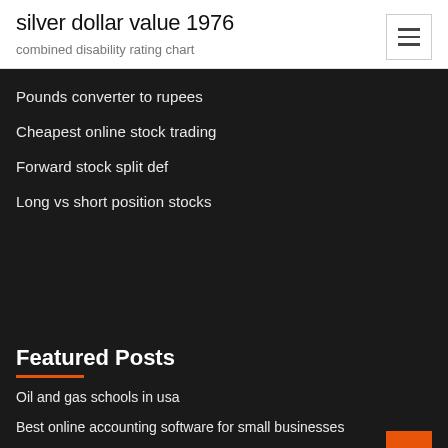silver dollar value 1976
combined disability rating chart
Pounds converter to rupees
Cheapest online stock trading
Forward stock split def
Long vs short position stocks
Featured Posts
Oil and gas schools in usa
Best online accounting software for small businesses
Gulf bp oil spill effects
Gbp usd news forex